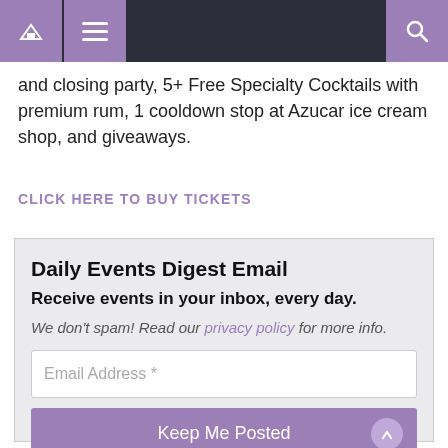Navigation bar with home, menu, and search icons
and closing party, 5+ Free Specialty Cocktails with premium rum, 1 cooldown stop at Azucar ice cream shop, and giveaways.
CLICK HERE TO BUY TICKETS
Daily Events Digest Email
Receive events in your inbox, every day.
We don't spam! Read our privacy policy for more info.
Email Address *
Keep Me Posted